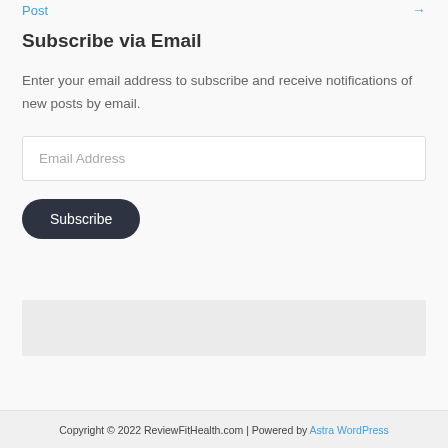Post →
Subscribe via Email
Enter your email address to subscribe and receive notifications of new posts by email.
Email Address
Subscribe
Copyright © 2022 ReviewFitHealth.com | Powered by Astra WordPress